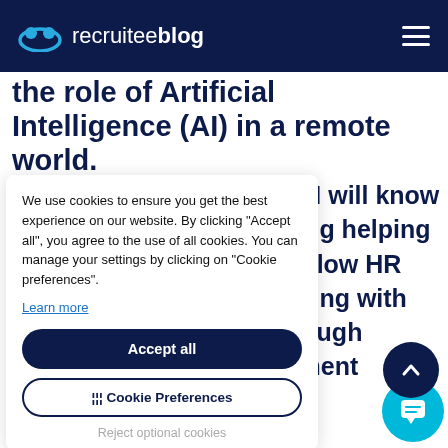recruiteeblog
the role of Artificial Intelligence (AI) in a remote world.
at AI will know and g helping s, allow HR gaging with through uitment
We use cookies to ensure you get the best experience on our website. By clicking "Accept all", you agree to the use of all cookies. You can manage your settings by clicking on "Cookie preferences".
Learn more
Accept all
Cookie Preferences
Reject optional cookies
We also discuss: